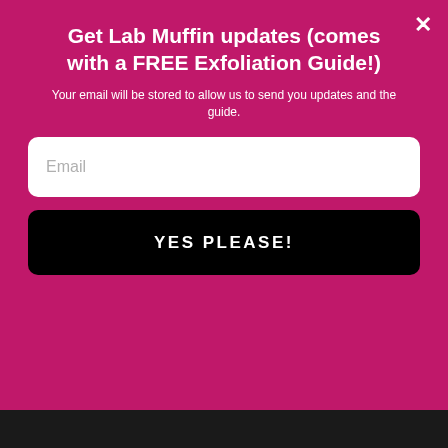Get Lab Muffin updates (comes with a FREE Exfoliation Guide!)
Your email will be stored to allow us to send you updates and the guide.
Email
YES PLEASE!
wash your hands after.”
— Dr Prashant Chanda, Doctor and Director of Noble Nurse